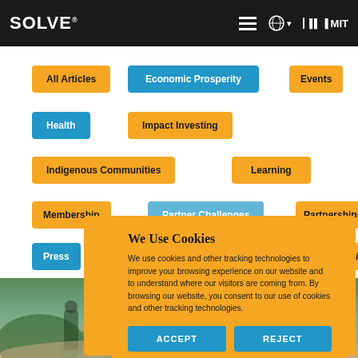SOLVE® MIT
All Articles
Economic Prosperity
Events
Health
Impact Investing
Indigenous Communities
Learning
Membership
Partner Challenges
Partnerships
Press
Sustainability
We Use Cookies
We use cookies and other tracking technologies to improve your browsing experience on our website and to understand where our visitors are coming from. By browsing our website, you consent to our use of cookies and other tracking technologies.
ACCEPT
REJECT
[Figure (photo): People outdoors, partially visible at bottom of page]